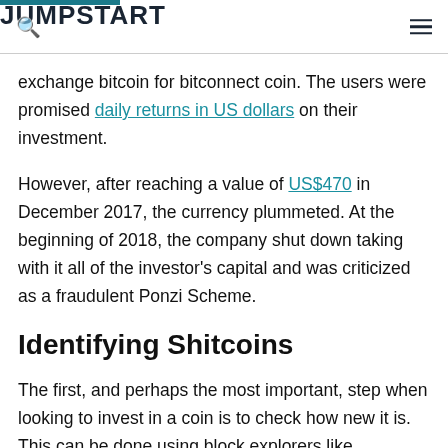JUMPSTART
exchange bitcoin for bitconnect coin. The users were promised daily returns in US dollars on their investment.

However, after reaching a value of US$470 in December 2017, the currency plummeted. At the beginning of 2018, the company shut down taking with it all of the investor's capital and was criticized as a fraudulent Ponzi Scheme.
Identifying Shitcoins
The first, and perhaps the most important, step when looking to invest in a coin is to check how new it is. This can be done using block explorers like BSCScan, which is a part of the Binance Smart Chain.